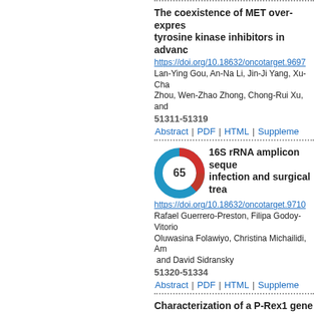The coexistence of MET over-expression and tyrosine kinase inhibitors in advanced...
https://doi.org/10.18632/oncotarget.9697
Lan-Ying Gou, An-Na Li, Jin-Ji Yang, Xu-Chao Zhang, Zhou, Wen-Zhao Zhong, Chong-Rui Xu, and
51311-51319
Abstract | PDF | HTML | Supple...
[Figure (other): Circular badge/donut chart showing score 65 with blue and red segments]
16S rRNA amplicon seque... infection and surgical trea...
https://doi.org/10.18632/oncotarget.9710
Rafael Guerrero-Preston, Filipa Godoy-Vitori..., Oluwasina Folawiyo, Christina Michailidi, Am... and David Sidransky
51320-51334
Abstract | PDF | HTML | Supple...
Characterization of a P-Rex1 gene s...
https://doi.org/10.18632/oncotarget.10285
Laura Barrio-Real, Eva Wertheimer, Rachana...
51335-51348
Abstract | PDF | HTML | Supple...
Loss of insulin-like growth factor II ... cancer stem cells
https://doi.org/10.18632/oncotarget.9784